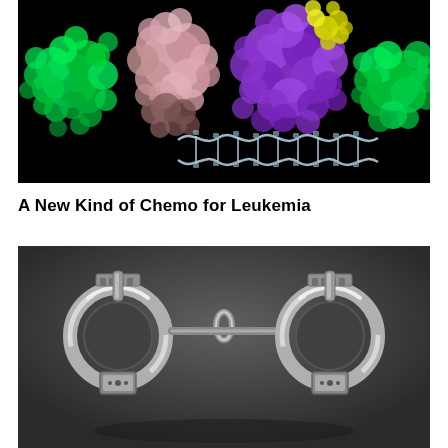[Figure (illustration): 3D molecular rendering of protein complexes (green, pink, brown, purple, yellow) around a DNA double helix strand on black background — representing leukemia chemotherapy research]
A New Kind of Chemo for Leukemia
[Figure (photo): Silver metal handcuffs lying on a dark gray surface, photographed from above at a slight angle]